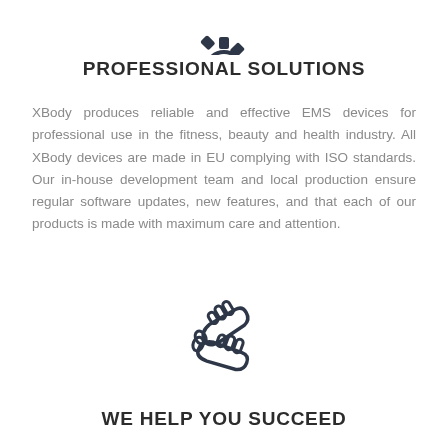[Figure (illustration): Gear/cog icon in dark outline style, partially visible at top of page]
PROFESSIONAL SOLUTIONS
XBody produces reliable and effective EMS devices for professional use in the fitness, beauty and health industry. All XBody devices are made in EU complying with ISO standards. Our in-house development team and local production ensure regular software updates, new features, and that each of our products is made with maximum care and attention.
[Figure (illustration): Two hands in a handshake/helping gesture, drawn in dark outline icon style]
WE HELP YOU SUCCEED